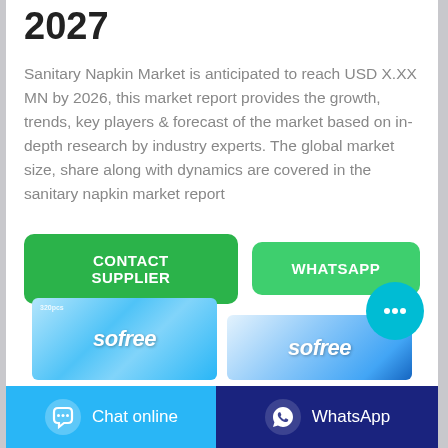2027
Sanitary Napkin Market is anticipated to reach USD X.XX MN by 2026, this market report provides the growth, trends, key players & forecast of the market based on in-depth research by industry experts. The global market size, share along with dynamics are covered in the sanitary napkin market report
[Figure (other): Two green buttons: CONTACT SUPPLIER and WHATSAPP]
[Figure (photo): Product images of Sofree sanitary napkin packages at bottom of page]
[Figure (other): Cyan circular chat bubble button with ellipsis icon]
Chat online | WhatsApp